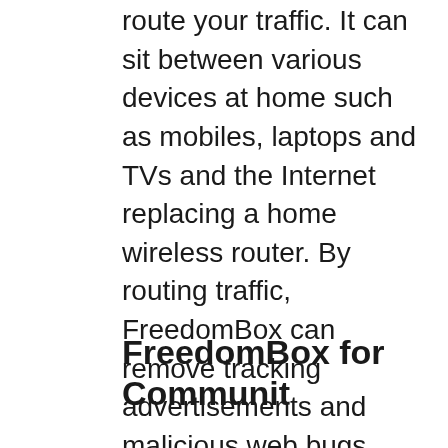route your traffic. It can sit between various devices at home such as mobiles, laptops and TVs and the Internet replacing a home wireless router. By routing traffic, FreedomBox can remove tracking advertisements and malicious web bugs before they ever reach your devices. FreedomBox can cloak your location and protect your anonymity by "onion routing" your traffic over Tor. FreedomBox provides a VPN server that you can use while you are away from home to keep your traffic secret on untrusted public wireless networks and to securely access various devices at home. It can also be carried along with your laptop and used to connect to public networks at work, school, or office to avail its services. It could be used in a village to provide communications throughout the village. In future, FreedomBox intends to provide support for alternative ways of connecting to the Internet such as Mesh networks.
FreedomBox for Communities